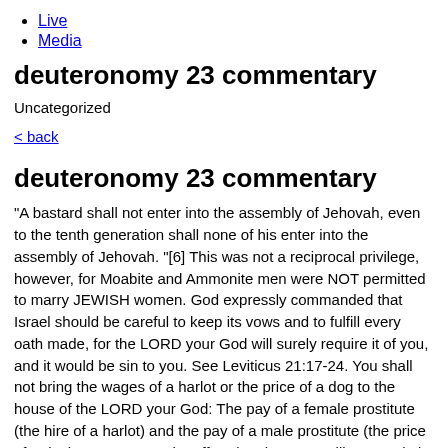Live
Media
deuteronomy 23 commentary
Uncategorized
< back
deuteronomy 23 commentary
"A bastard shall not enter into the assembly of Jehovah, even to the tenth generation shall none of his enter into the assembly of Jehovah. "[6] This was not a reciprocal privilege, however, for Moabite and Ammonite men were NOT permitted to marry JEWISH women. God expressly commanded that Israel should be careful to keep its vows and to fulfill every oath made, for the LORD your God will surely require it of you, and it would be sin to you. See Leviticus 21:17-24. You shall not bring the wages of a harlot or the price of a dog to the house of the LORD your God: The pay of a female prostitute (the hire of a harlot) and the pay of a male prostitute (the price of a dog) were never to be offered to the LORD. iii. Our website uses cookies to store user preferences. In the first place, no such danger existed, and, even if there had been